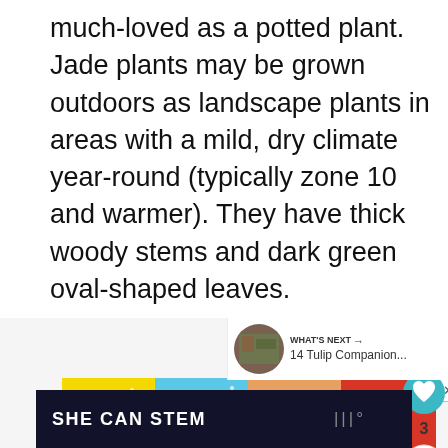much-loved as a potted plant. Jade plants may be grown outdoors as landscape plants in areas with a mild, dry climate year-round (typically zone 10 and warmer). They have thick woody stems and dark green oval-shaped leaves.
[Figure (infographic): Advertisement banner showing 'Wash Your Hands Often' with four colored tiles (yellow, blue, orange, red) each showing a different hand washing illustration with corresponding text.]
[Figure (infographic): Heart/like button (teal circle with heart icon) showing count of 3, and a share button below it.]
[Figure (infographic): What's Next panel showing a thumbnail and text '14 Tulip Companion...']
[Figure (infographic): Dark banner at bottom reading 'SHE CAN STEM' with a logo on the right side.]